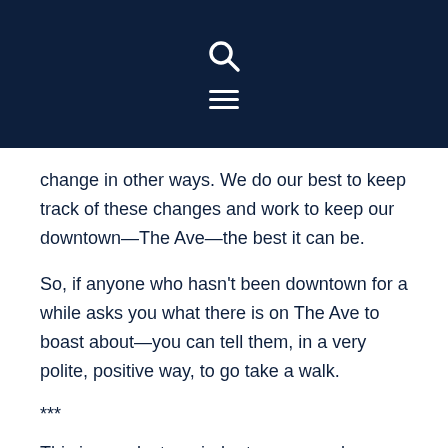[search icon] [menu icon]
change in other ways. We do our best to keep track of these changes and work to keep our downtown—The Ave—the best it can be.
So, if anyone who hasn't been downtown for a while asks you what there is on The Ave to boast about—you can tell them, in a very polite, positive way, to go take a walk.
***
This is your last reminder to come and see some fun, frisky felines on The Ave as the Empire Cat Club